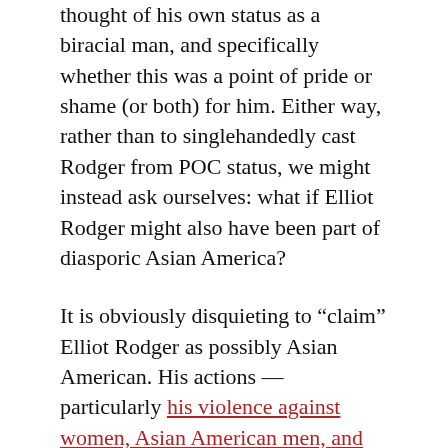thought of his own status as a biracial man, and specifically whether this was a point of pride or shame (or both) for him. Either way, rather than to singlehandedly cast Rodger from POC status, we might instead ask ourselves: what if Elliot Rodger might also have been part of diasporic Asian America?
It is obviously disquieting to “claim” Elliot Rodger as possibly Asian American. His actions — particularly his violence against women, Asian American men, and all other marginalized people — make him a loathsome individual with whom no one should want to associate. Furthermore — and I cannot make this point any clearer — Elliot Rodger’s violence and misanthropy would be an outlier